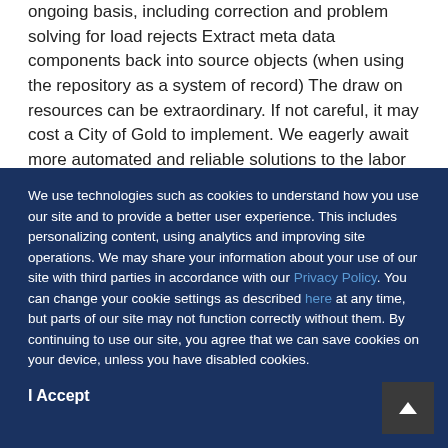ongoing basis, including correction and problem solving for load rejects Extract meta data components back into source objects (when using the repository as a system of record) The draw on resources can be extraordinary. If not careful, it may cost a City of Gold to implement. We eagerly await more automated and reliable solutions to the labor intensive procedures that are involved in populating and maintaining
We use technologies such as cookies to understand how you use our site and to provide a better user experience. This includes personalizing content, using analytics and improving site operations. We may share your information about your use of our site with third parties in accordance with our Privacy Policy. You can change your cookie settings as described here at any time, but parts of our site may not function correctly without them. By continuing to use our site, you agree that we can save cookies on your device, unless you have disabled cookies.
I Accept